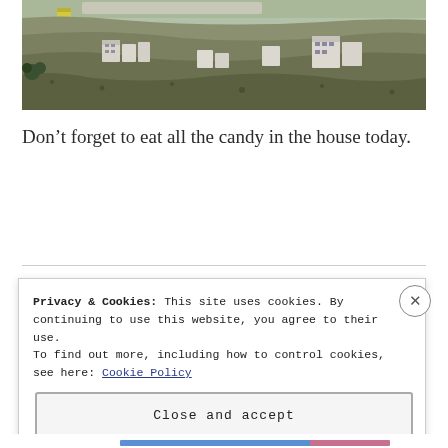[Figure (photo): Aerial/distant landscape photo showing a hillside with buildings, a wall or barrier, and rocky terrain in what appears to be a Middle Eastern setting.]
Don’t forget to eat all the candy in the house today.
Privacy & Cookies: This site uses cookies. By continuing to use this website, you agree to their use.
To find out more, including how to control cookies, see here: Cookie Policy
Close and accept